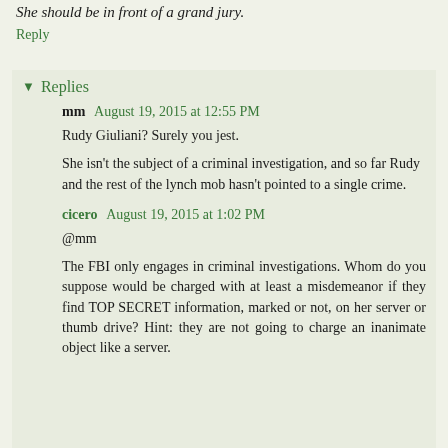She should be in front of a grand jury.
Reply
Replies
mm  August 19, 2015 at 12:55 PM
Rudy Giuliani? Surely you jest.

She isn't the subject of a criminal investigation, and so far Rudy and the rest of the lynch mob hasn't pointed to a single crime.
cicero  August 19, 2015 at 1:02 PM
@mm

The FBI only engages in criminal investigations. Whom do you suppose would be charged with at least a misdemeanor if they find TOP SECRET information, marked or not, on her server or thumb drive? Hint: they are not going to charge an inanimate object like a server.